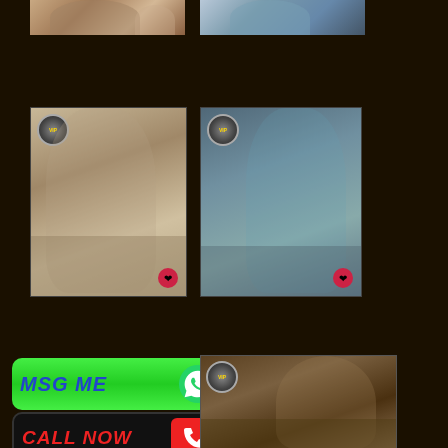[Figure (photo): Partial photo of a woman at top left, cropped]
[Figure (photo): Partial photo of a woman at top right, cropped]
[Figure (photo): Photo of a woman with long hair wearing a sports bra and grey pants, VIP badge top left, heart badge bottom right]
[Figure (photo): Photo of a woman in teal crop top and grey jeans posing, VIP badge top left, heart badge bottom right]
[Figure (infographic): Green MSG ME button with WhatsApp icon]
[Figure (infographic): Black CALL NOW button with red phone icon]
[Figure (photo): Partial photo of a woman with VIP badge, bottom right area]